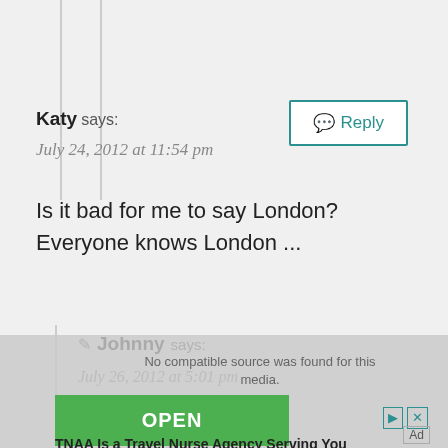[Figure (screenshot): Reply button at top right with teal border and speech bubble icon]
Katy says:
July 24, 2012 at 11:54 pm
Is it bad for me to say London? Everyone knows London ...
[Figure (screenshot): Second Reply button at middle right with teal border]
Johnny says:
July 26, 2012 at 5:01 pm
[Figure (screenshot): Ad overlay with OPEN button, TNAA Is a Travel Nurse Agency Serving You text, and BITOLA watermark]